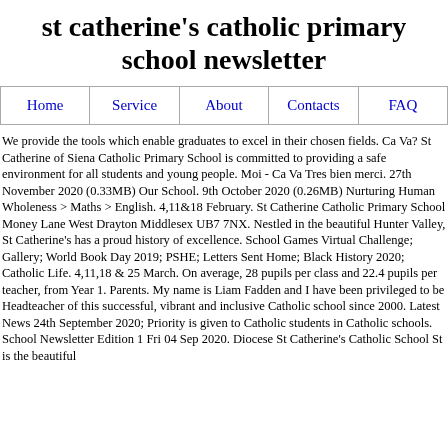st catherine's catholic primary school newsletter
Home | Service | About | Contacts | FAQ
We provide the tools which enable graduates to excel in their chosen fields. Ca Va? St Catherine of Siena Catholic Primary School is committed to providing a safe environment for all students and young people. Moi - Ca Va Tres bien merci. 27th November 2020 (0.33MB) Our School. 9th October 2020 (0.26MB) Nurturing Human Wholeness > Maths > English. 4,11&18 February. St Catherine Catholic Primary School Money Lane West Drayton Middlesex UB7 7NX. Nestled in the beautiful Hunter Valley, St Catherine's has a proud history of excellence. School Games Virtual Challenge; Gallery; World Book Day 2019; PSHE; Letters Sent Home; Black History 2020; Catholic Life. 4,11,18 & 25 March. On average, 28 pupils per class and 22.4 pupils per teacher, from Year 1. Parents. My name is Liam Fadden and I have been privileged to be Headteacher of this successful, vibrant and inclusive Catholic school since 2000. Latest News 24th September 2020; Priority is given to Catholic students in Catholic schools. School Newsletter Edition 1 Fri 04 Sep 2020. Diocese St Catherine's Catholic School St is the beautiful